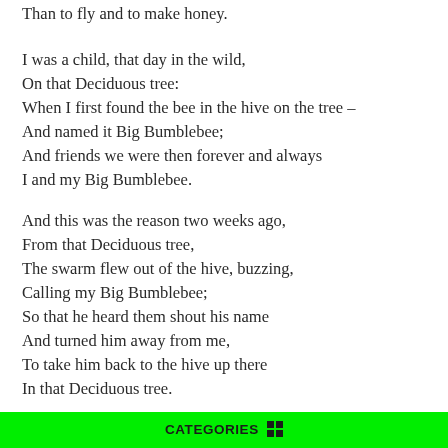Than to fly and to make honey.
I was a child, that day in the wild,
On that Deciduous tree:
When I first found the bee in the hive on the tree –
And named it Big Bumblebee;
And friends we were then forever and always
I and my Big Bumblebee.
And this was the reason two weeks ago,
From that Deciduous tree,
The swarm flew out of the hive, buzzing,
Calling my Big Bumblebee;
So that he heard them shout his name
And turned him away from me,
To take him back to the hive up there
In that Deciduous tree.
The bees, not so happy without him,
Were missing my Big Bumblebee,
CATEGORIES